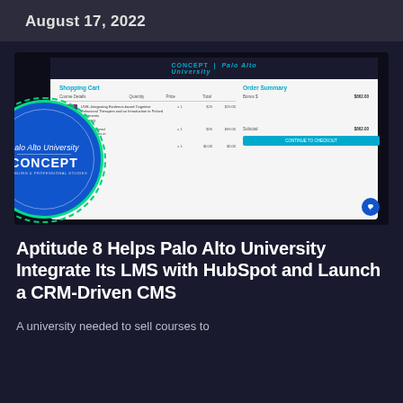August 17, 2022
[Figure (screenshot): Screenshot of a university LMS shopping cart interface showing course listings, order summary, and a blue Palo Alto University CONCEPT circle logo overlay with dashed green ring]
Aptitude 8 Helps Palo Alto University Integrate Its LMS with HubSpot and Launch a CRM-Driven CMS
A university needed to sell courses to